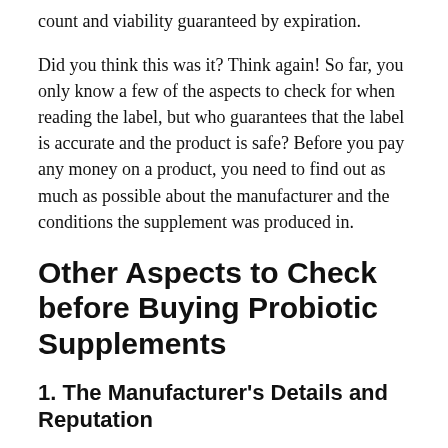count and viability guaranteed by expiration.
Did you think this was it? Think again! So far, you only know a few of the aspects to check for when reading the label, but who guarantees that the label is accurate and the product is safe? Before you pay any money on a product, you need to find out as much as possible about the manufacturer and the conditions the supplement was produced in.
Other Aspects to Check before Buying Probiotic Supplements
1. The Manufacturer's Details and Reputation
Before you buy a product, you need to know who